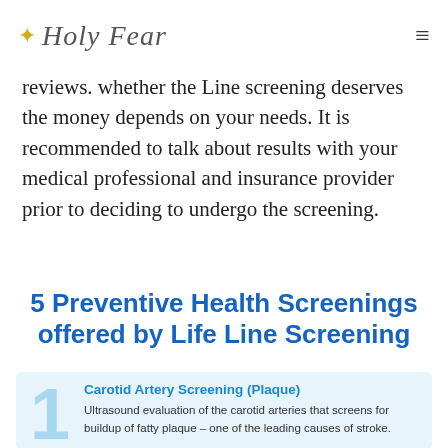Holy Fear
reviews. whether the Line screening deserves the money depends on your needs. It is recommended to talk about results with your medical professional and insurance provider prior to deciding to undergo the screening.
5 Preventive Health Screenings offered by Life Line Screening
[Figure (infographic): Infographic item 1: Carotid Artery Screening (Plaque) - Ultrasound evaluation of the carotid arteries that screens for buildup of fatty plaque – one of the leading causes of stroke.]